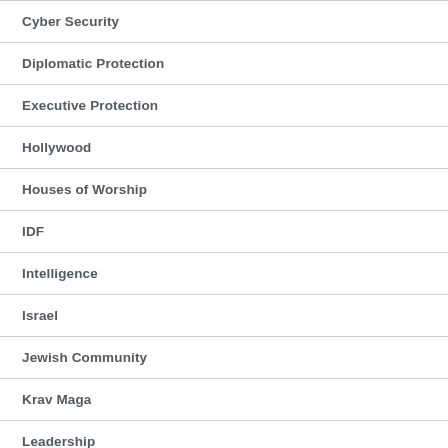Cyber Security
Diplomatic Protection
Executive Protection
Hollywood
Houses of Worship
IDF
Intelligence
Israel
Jewish Community
Krav Maga
Leadership